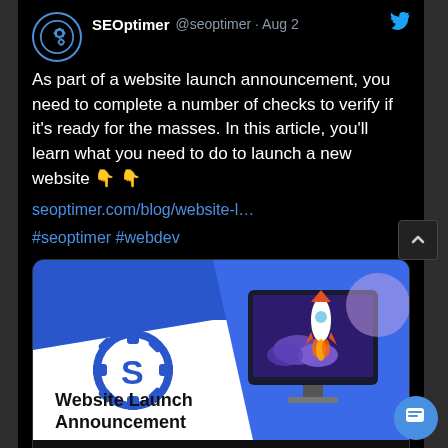[Figure (screenshot): Twitter/X tweet from SEOptimer (@seoptimer) dated Aug 2, with text about website launch announcement, a link to seoptimer.com/blog/website-l..., hashtags #seoptimer #webdev, and a linked image card showing 'Website Launch Announcement' with a rocket graphic and the article title 'Website Launch Announcement: Do This as Part of Your Launch']